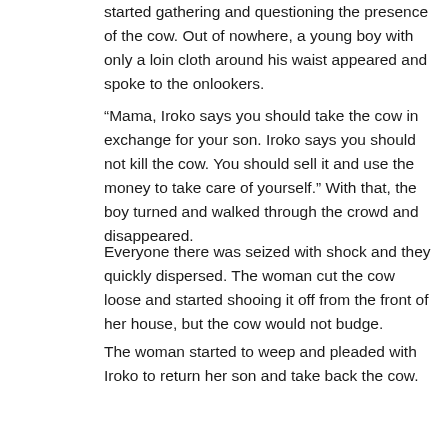started gathering and questioning the presence of the cow. Out of nowhere, a young boy with only a loin cloth around his waist appeared and spoke to the onlookers.
“Mama, Iroko says you should take the cow in exchange for your son. Iroko says you should not kill the cow. You should sell it and use the money to take care of yourself.” With that, the boy turned and walked through the crowd and disappeared.
Everyone there was seized with shock and they quickly dispersed. The woman cut the cow loose and started shooing it off from the front of her house, but the cow would not budge.
The woman started to weep and pleaded with Iroko to return her son and take back the cow.
“Iroko give me back my son and take your cow!” she implored. “I don’t want your cow!”
The next day, the woman saw the cow at the back of her house, peacefully lying down near her hearth and chewing